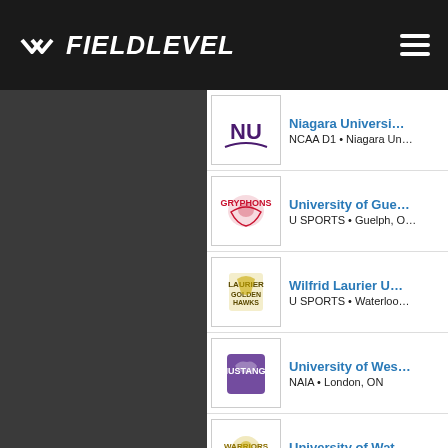FIELDLEVEL
Niagara University — NCAA D1 • Niagara Un…
University of Guelph — U SPORTS • Guelph, O…
Wilfrid Laurier University — U SPORTS • Waterloo…
University of Western Ontario — NAIA • London, ON
University of Waterloo — U SPORTS • Waterloo…
Rogers State University — NCAA D2 • Claremore,…
Blinn College — NJCAA D1 • Brenham…